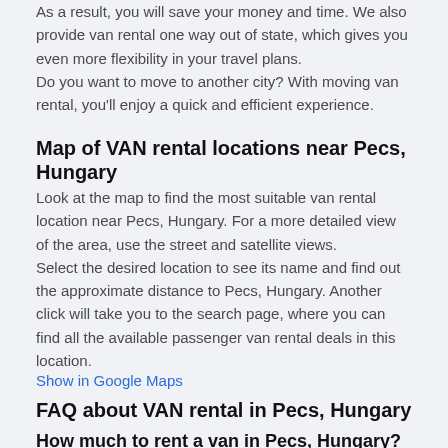As a result, you will save your money and time. We also provide van rental one way out of state, which gives you even more flexibility in your travel plans.
Do you want to move to another city? With moving van rental, you'll enjoy a quick and efficient experience.
Map of VAN rental locations near Pecs, Hungary
Look at the map to find the most suitable van rental location near Pecs, Hungary. For a more detailed view of the area, use the street and satellite views.
Select the desired location to see its name and find out the approximate distance to Pecs, Hungary. Another click will take you to the search page, where you can find all the available passenger van rental deals in this location.
Show in Google Maps
FAQ about VAN rental in Pecs, Hungary
How much to rent a van in Pecs, Hungary?